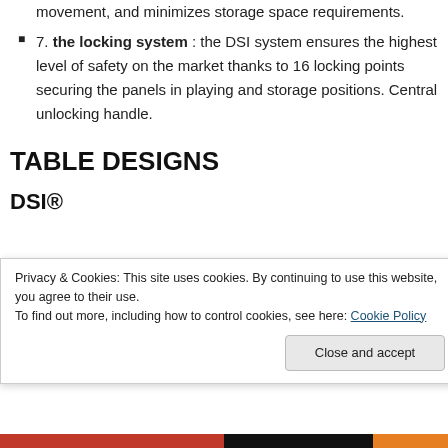movement, and minimizes storage space requirements.
7. the locking system : the DSI system ensures the highest level of safety on the market thanks to 16 locking points securing the panels in playing and storage positions. Central unlocking handle.
TABLE DESIGNS
DSI®
Privacy & Cookies: This site uses cookies. By continuing to use this website, you agree to their use.
To find out more, including how to control cookies, see here: Cookie Policy
Close and accept